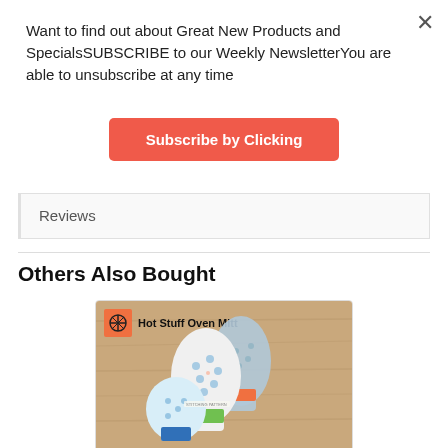Want to find out about Great New Products and SpecialsSUBSCRIBE to our Weekly NewsletterYou are able to unsubscribe at any time
Subscribe by Clicking
Reviews
Others Also Bought
[Figure (photo): Hot Stuff Oven Mitt product photo showing decorative oven mitts on a wooden surface with a sewing pattern label]